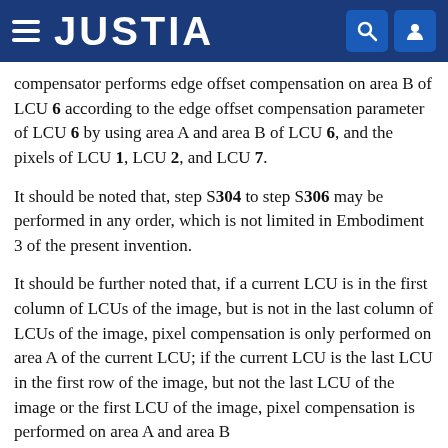JUSTIA
compensator performs edge offset compensation on area B of LCU 6 according to the edge offset compensation parameter of LCU 6 by using area A and area B of LCU 6, and the pixels of LCU 1, LCU 2, and LCU 7.
It should be noted that, step S304 to step S306 may be performed in any order, which is not limited in Embodiment 3 of the present invention.
It should be further noted that, if a current LCU is in the first column of LCUs of the image, but is not in the last column of LCUs of the image, pixel compensation is only performed on area A of the current LCU; if the current LCU is the last LCU in the first row of the image, but not the last LCU of the image or the first LCU of the image, pixel compensation is performed on area A and area B of the current LCU; and area B is for left LCU; if the